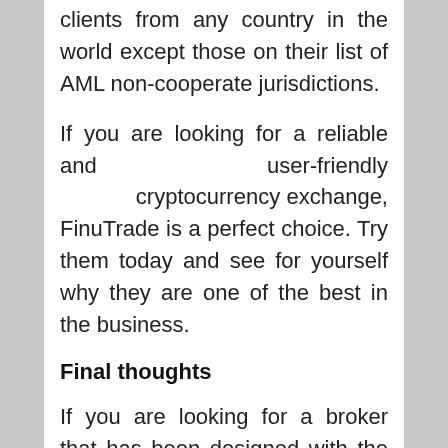clients from any country in the world except those on their list of AML non-cooperate jurisdictions.
If you are looking for a reliable and user-friendly cryptocurrency exchange, FinuTrade is a perfect choice. Try them today and see for yourself why they are one of the best in the business.
Final thoughts
If you are looking for a broker that has been designed with the latest